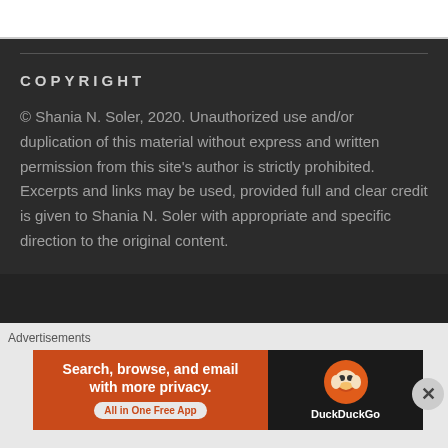COPYRIGHT
© Shania N. Soler, 2020. Unauthorized use and/or duplication of this material without express and written permission from this site's author is strictly prohibited. Excerpts and links may be used, provided full and clear credit is given to Shania N. Soler with appropriate and specific direction to the original content.
Advertisements
[Figure (screenshot): DuckDuckGo advertisement banner: 'Search, browse, and email with more privacy. All in One Free App' with DuckDuckGo logo on dark background]